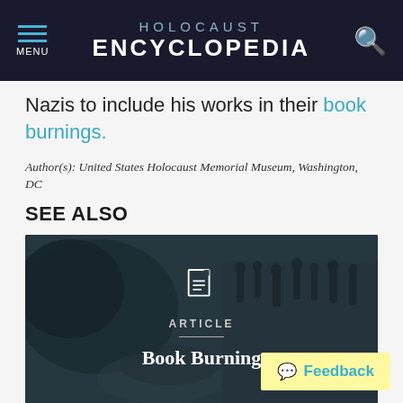HOLOCAUST ENCYCLOPEDIA
Nazis to include his works in their book burnings.
Author(s): United States Holocaust Memorial Museum, Washington, DC
SEE ALSO
[Figure (photo): Article card with dark background showing book burning scene, with document icon, label ARTICLE, and title Book Burning]
Feedback